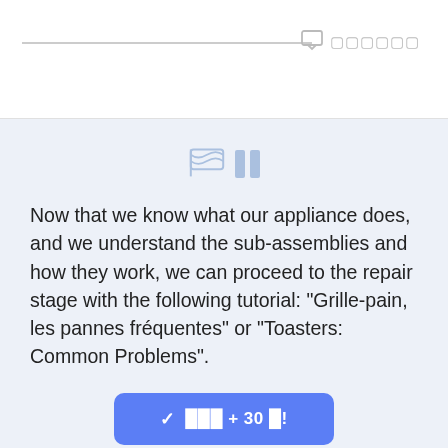UI chrome with search bar and comment/menu icons
[Figure (illustration): Flag icon and pause/stop icon in light blue on a light blue background]
Now that we know what our appliance does, and we understand the sub-assemblies and how they work, we can proceed to the repair stage with the following tutorial: "Grille-pain, les pannes fréquentes" or "Toasters: Common Problems".
[Figure (other): Blue button with checkmark and text: complete + 30 points]
5 points to redeem